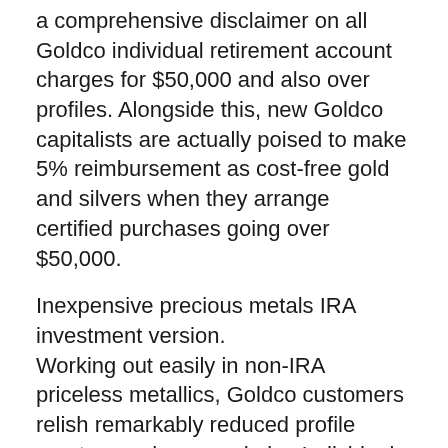a comprehensive disclaimer on all Goldco individual retirement account charges for $50,000 and also over profiles. Alongside this, new Goldco capitalists are actually poised to make 5% reimbursement as cost-free gold and silvers when they arrange certified purchases going over $50,000.
Inexpensive precious metals IRA investment version.
Working out easily in non-IRA priceless metallics, Goldco customers relish remarkably reduced profile create, purchase, and also Individual retirement account asset storage compared to very most other precious metal Individual retirement accounts.